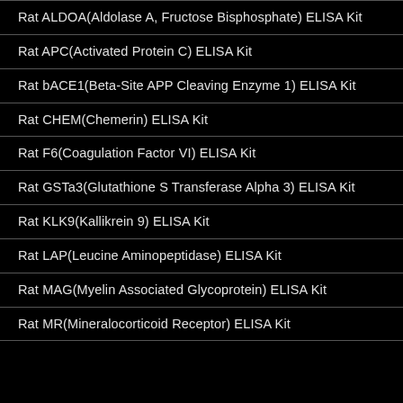Rat ALDOA(Aldolase A, Fructose Bisphosphate) ELISA Kit
Rat APC(Activated Protein C) ELISA Kit
Rat bACE1(Beta-Site APP Cleaving Enzyme 1) ELISA Kit
Rat CHEM(Chemerin) ELISA Kit
Rat F6(Coagulation Factor VI) ELISA Kit
Rat GSTa3(Glutathione S Transferase Alpha 3) ELISA Kit
Rat KLK9(Kallikrein 9) ELISA Kit
Rat LAP(Leucine Aminopeptidase) ELISA Kit
Rat MAG(Myelin Associated Glycoprotein) ELISA Kit
Rat MR(Mineralocorticoid Receptor) ELISA Kit